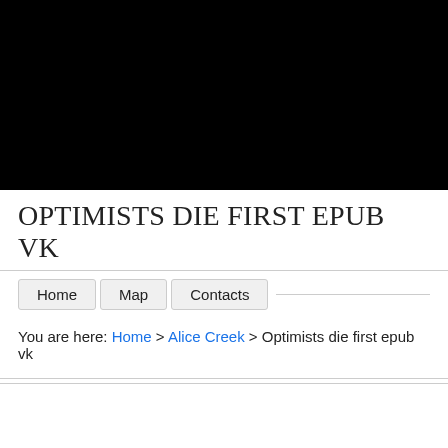[Figure (other): Black banner/header image area at the top of the page]
OPTIMISTS DIE FIRST EPUB VK
Home | Map | Contacts
You are here: Home > Alice Creek > Optimists die first epub vk